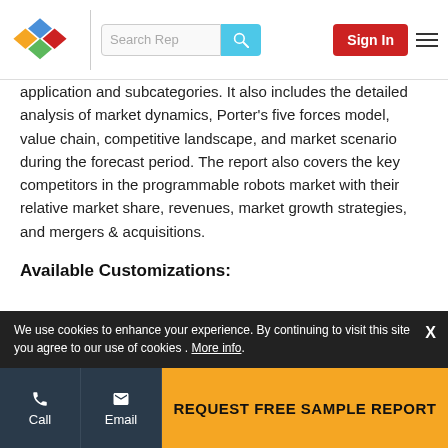MarketsandMarkets logo, Search Rep input, Sign In button, hamburger menu
application and subcategories. It also includes the detailed analysis of market dynamics, Porter's five forces model, value chain, competitive landscape, and market scenario during the forecast period. The report also covers the key competitors in the programmable robots market with their relative market share, revenues, market growth strategies, and mergers & acquisitions.
Available Customizations:
With the given market data, MarketsandMarkets offers customizations as per the company's specific needs. The following customization options are available for the report:
Geographic Analysis
we provide breakdown of the programmable robots
We use cookies to enhance your experience. By continuing to visit this site you agree to our use of cookies . More info.  X
Call | Email | REQUEST FREE SAMPLE REPORT